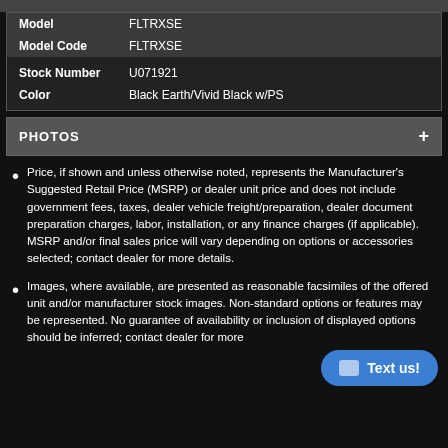| Field | Value |
| --- | --- |
| Model | FLTRXSE |
| Model Code | FLTRXSE |
| Stock Number | U071921 |
| Color | Black Earth/Vivid Black w/PS |
PHOTOS +
Price, if shown and unless otherwise noted, represents the Manufacturer's Suggested Retail Price (MSRP) or dealer unit price and does not include government fees, taxes, dealer vehicle freight/preparation, dealer document preparation charges, labor, installation, or any finance charges (if applicable). MSRP and/or final sales price will vary depending on options or accessories selected; contact dealer for more details.
Images, where available, are presented as reasonable facsimiles of the offered unit and/or manufacturer stock images. Non-standard options or features may be represented. No guarantee of availability or inclusion of displayed options should be inferred; contact dealer for more details.